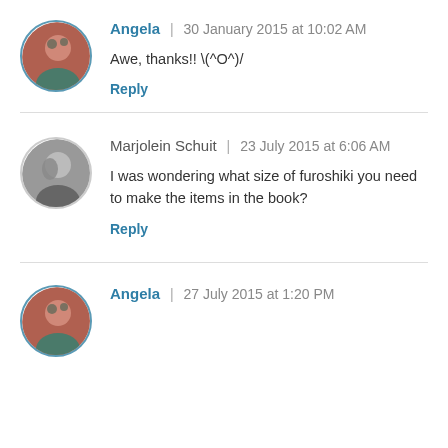Angela | 30 January 2015 at 10:02 AM
Awe, thanks!! \(^O^)/
Reply
Marjolein Schuit | 23 July 2015 at 6:06 AM
I was wondering what size of furoshiki you need to make the items in the book?
Reply
Angela | 27 July 2015 at 1:20 PM